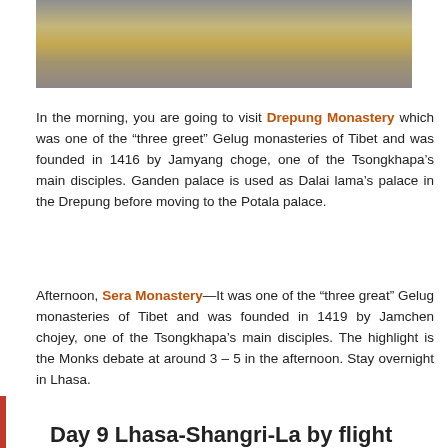[Figure (photo): Photo of a Tibetan monastery with golden roofs against a dark sky]
In the morning, you are going to visit Drepung Monastery which was one of the “three greet” Gelug monasteries of Tibet and was founded in 1416 by Jamyang choge, one of the Tsongkhapa’s main disciples. Ganden palace is used as Dalai lama’s palace in the Drepung before moving to the Potala palace.
Afternoon, Sera Monastery—It was one of the “three great” Gelug monasteries of Tibet and was founded in 1419 by Jamchen chojey, one of the Tsongkhapa’s main disciples. The highlight is the Monks debate at around 3 – 5 in the afternoon. Stay overnight in Lhasa.
Day 9 Lhasa-Shangri-La by flight